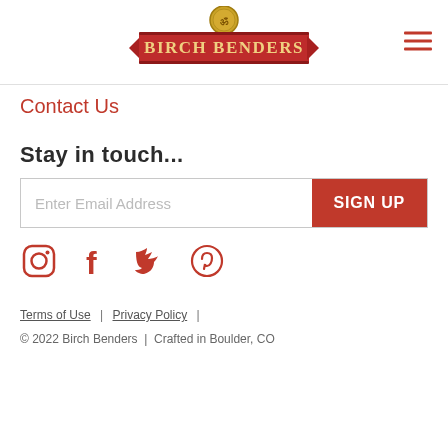[Figure (logo): Birch Benders logo: red ribbon banner with gold circular emblem on top, text BIRCH BENDERS in cream/gold serif font]
Contact Us
Stay in touch...
Enter Email Address | SIGN UP button
[Figure (illustration): Social media icons: Instagram, Facebook, Twitter, Pinterest - all in red]
Terms of Use | Privacy Policy |
© 2022 Birch Benders | Crafted in Boulder, CO